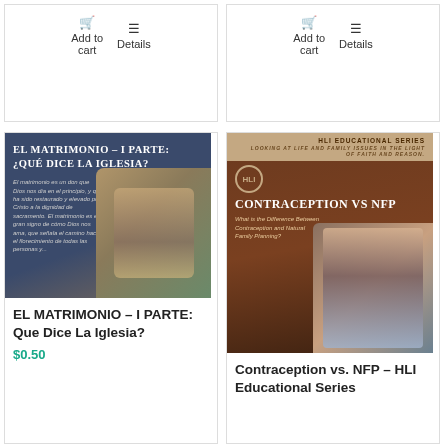Add to cart
Details
Add to cart
Details
[Figure (photo): Book cover: El Matrimonio - I Parte: ¿Qué Dice La Iglesia? with couple holding hands]
EL MATRIMONIO – I PARTE: Que Dice La Iglesia?
$0.50
[Figure (photo): Book cover: Contraception vs NFP – HLI Educational Series with couple]
Contraception vs. NFP – HLI Educational Series